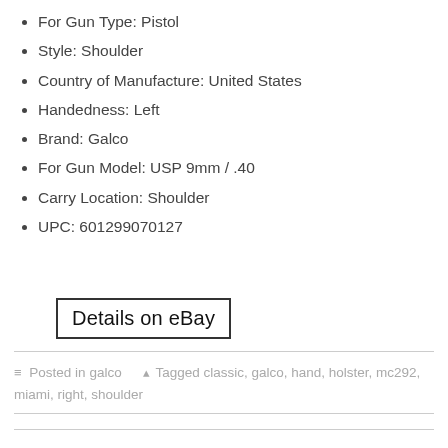For Gun Type: Pistol
Style: Shoulder
Country of Manufacture: United States
Handedness: Left
Brand: Galco
For Gun Model: USP 9mm / .40
Carry Location: Shoulder
UPC: 601299070127
Details on eBay
Posted in galco   Tagged classic, galco, hand, holster, mc292, miami, right, shoulder